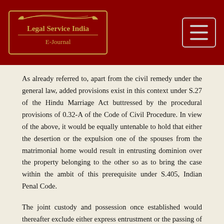Legal Service India E-Journal
As already referred to, apart from the civil remedy under the general law, added provisions exist in this context under S.27 of the Hindu Marriage Act buttressed by the procedural provisions of 0.32-A of the Code of Civil Procedure. In view of the above, it would be equally untenable to hold that either the desertion or the expulsion one of the spouses from the matrimonial home would result in entrusting dominion over the property belonging to the other so as to bring the case within the ambit of this prerequisite under S.405, Indian Penal Code.
The joint custody and possession once established would thereafter exclude either express entrustment or the passing of dominion over the property. It was rightly argued that if an irate husband or wife walks out from the matrimonial home in a huff, this cannot constitute an entrustment or dominion over the property to the other.